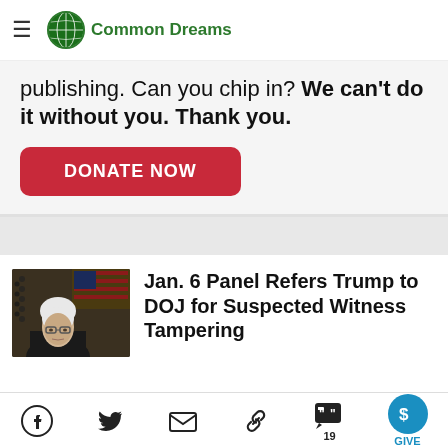Common Dreams
publishing. Can you chip in? We can't do it without you. Thank you.
DONATE NOW
Jan. 6 Panel Refers Trump to DOJ for Suspected Witness Tampering
Social share icons: Facebook, Twitter, Email, Link, Comments (19), GIVE